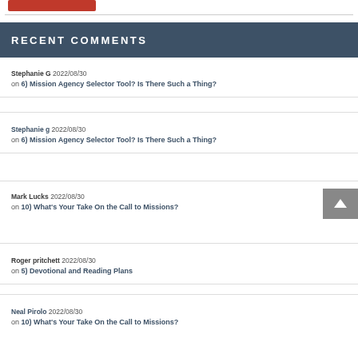[Figure (photo): Small red photo thumbnail in top left corner]
RECENT COMMENTS
Stephanie G 2022/08/30 on 6) Mission Agency Selector Tool? Is There Such a Thing?
Stephanie g 2022/08/30 on 6) Mission Agency Selector Tool? Is There Such a Thing?
Mark Lucks 2022/08/30 on 10) What's Your Take On the Call to Missions?
Roger pritchett 2022/08/30 on 5) Devotional and Reading Plans
Neal Pirolo 2022/08/30 on 10) What's Your Take On the Call to Missions?